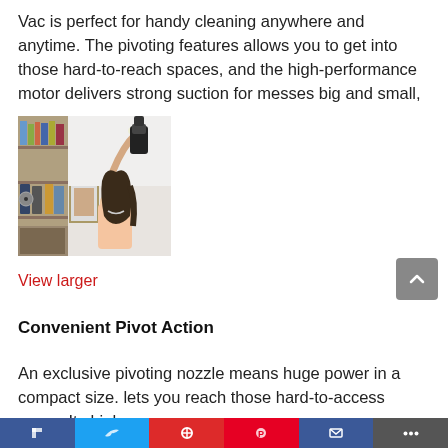Vac is perfect for handy cleaning anywhere and anytime. The pivoting features allows you to get into those hard-to-reach spaces, and the high-performance motor delivers strong suction for messes big and small,
[Figure (photo): Woman using a handheld vacuum cleaner to clean a high shelf on a bookcase filled with books and DVDs. She is reaching up with the vacuum above her head, standing in a living room.]
View larger
Convenient Pivot Action
An exclusive pivoting nozzle means huge power in a compact size. lets you reach those hard-to-access areas. Its high